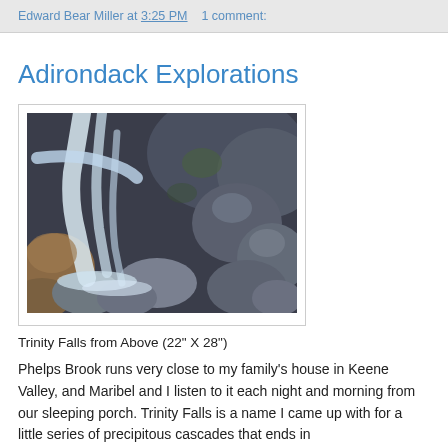Edward Bear Miller at 3:25 PM   1 comment:
Adirondack Explorations
[Figure (illustration): Painting of Trinity Falls from above — a waterfall cascading over large grey and brown rocks, with white rushing water flowing down through the rocky gorge. Painted in oils with blues, greys, and earth tones.]
Trinity Falls from Above (22" X 28")
Phelps Brook runs very close to my family's house in Keene Valley, and Maribel and I listen to it each night and morning from our sleeping porch. Trinity Falls is a name I came up with for a little series of precipitous cascades that ends in